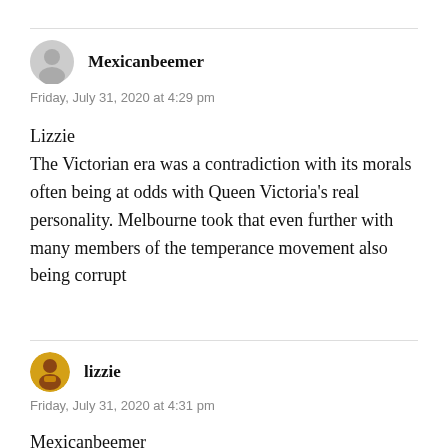Mexicanbeemer
Friday, July 31, 2020 at 4:29 pm
Lizzie
The Victorian era was a contradiction with its morals often being at odds with Queen Victoria's real personality. Melbourne took that even further with many members of the temperance movement also being corrupt
lizzie
Friday, July 31, 2020 at 4:31 pm
Mexicanbeemer